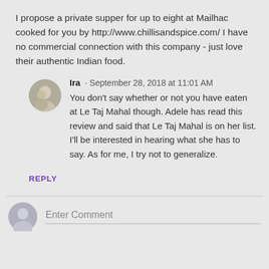I propose a private supper for up to eight at Mailhac cooked for you by http://www.chillisandspice.com/ I have no commercial connection with this company - just love their authentic Indian food.
Ira · September 28, 2018 at 11:01 AM
You don't say whether or not you have eaten at Le Taj Mahal though. Adele has read this review and said that Le Taj Mahal is on her list. I'll be interested in hearing what she has to say. As for me, I try not to generalize.
REPLY
Enter Comment